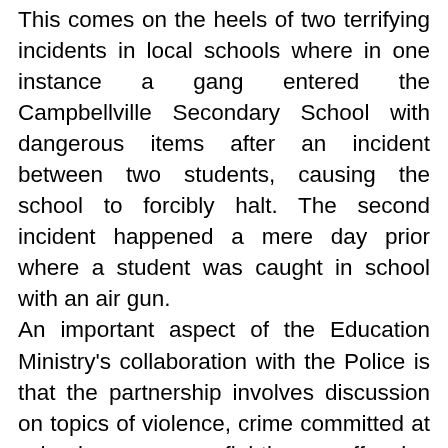This comes on the heels of two terrifying incidents in local schools where in one instance a gang entered the Campbellville Secondary School with dangerous items after an incident between two students, causing the school to forcibly halt. The second incident happened a mere day prior where a student was caught in school with an air gun.
An important aspect of the Education Ministry's collaboration with the Police is that the partnership involves discussion on topics of violence, crime committed at schools, gang fighting, offensive weapons and, significantly, consequences.
Who would have thought that in the process of getting an education here in Guyana, safety in schools is becoming a primary concern? With the threats in question, it seems rightfully so.